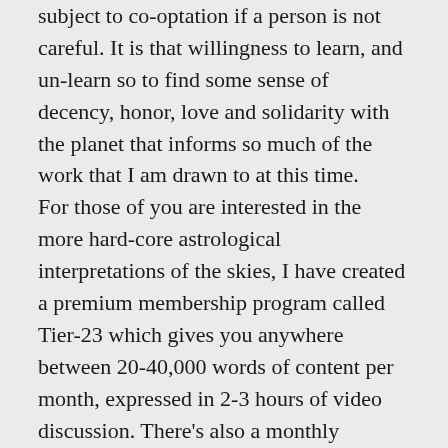subject to co-optation if a person is not careful. It is that willingness to learn, and un-learn so to find some sense of decency, honor, love and solidarity with the planet that informs so much of the work that I am drawn to at this time.
For those of you are interested in the more hard-core astrological interpretations of the skies, I have created a premium membership program called Tier-23 which gives you anywhere between 20-40,000 words of content per month, expressed in 2-3 hours of video discussion. There's also a monthly meditation where my direct spiritual facilitations take place.
It takes real time, energy, work, dedication and devotion to create and hold the energy of that space. And it has created its own very focused and